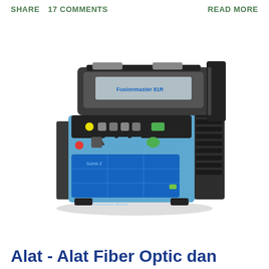SHARE   17 COMMENTS   READ MORE
[Figure (photo): Photo of a fiber optic fusion splicer machine, blue and black colored portable device with display screen and control buttons]
Alat - Alat Fiber Optic dan